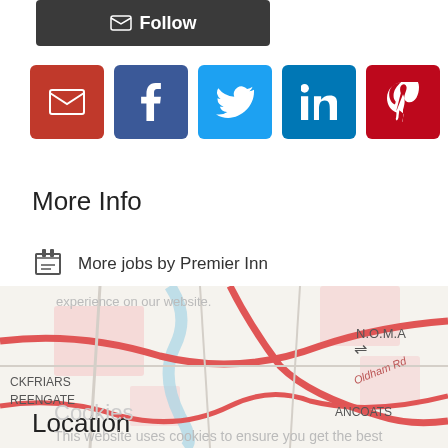[Figure (screenshot): Dark grey Follow button with envelope icon]
[Figure (screenshot): Row of social media share icons: email (red), Facebook (dark blue), Twitter (light blue), LinkedIn (blue), Pinterest (dark red), WhatsApp (green)]
More Info
More jobs by Premier Inn
More jobs by Marina James
Report this job
Cookies
Location
This website uses cookies to ensure you get the best experience on our website.
[Figure (map): Street map showing N.O.M.A, ANCOATS, CKFRIARS, REENGATE areas with Oldham Rd visible]